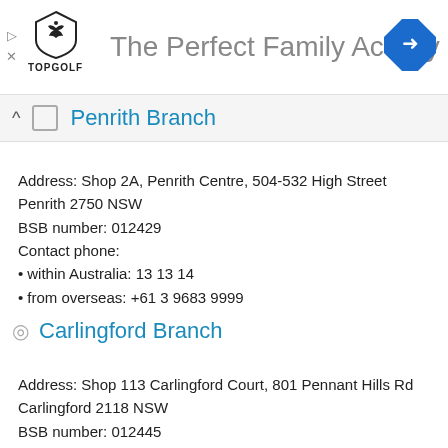[Figure (screenshot): Top golf advertisement banner with logo and 'The Perfect Family Activity' text, plus a blue navigation arrow icon on the right]
Penrith Branch
Address: Shop 2A, Penrith Centre, 504-532 High Street Penrith 2750 NSW
BSB number: 012429
Contact phone:
• within Australia: 13 13 14
• from overseas: +61 3 9683 9999
Carlingford Branch
Address: Shop 113 Carlingford Court, 801 Pennant Hills Rd Carlingford 2118 NSW
BSB number: 012445
Contact phone: